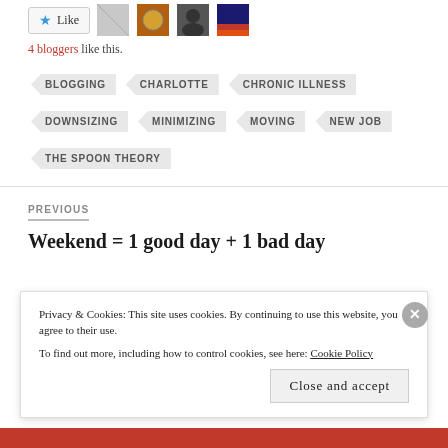[Figure (other): Like button with star icon and 4 blogger avatar thumbnails]
4 bloggers like this.
BLOGGING
CHARLOTTE
CHRONIC ILLNESS
DOWNSIZING
MINIMIZING
MOVING
NEW JOB
THE SPOON THEORY
PREVIOUS
Weekend = 1 good day + 1 bad day
Privacy & Cookies: This site uses cookies. By continuing to use this website, you agree to their use.
To find out more, including how to control cookies, see here: Cookie Policy
Close and accept